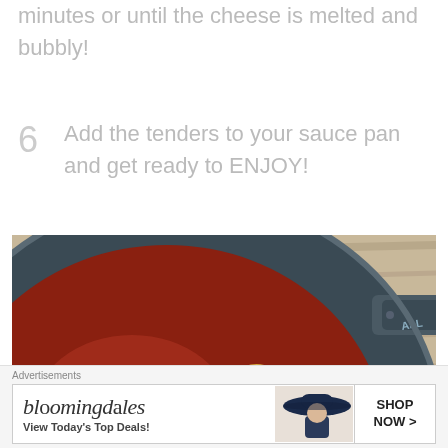minutes or until the cheese is melted and bubbly!
6  Add the tenders to your sauce pan and get ready to ENJOY!
[Figure (photo): Overhead view of a dark pan with spaghetti in tomato sauce with vegetables, on a wooden surface]
Advertisements
[Figure (other): Bloomingdale's advertisement: 'View Today's Top Deals!' with a woman wearing a wide-brim hat and 'SHOP NOW >' button]